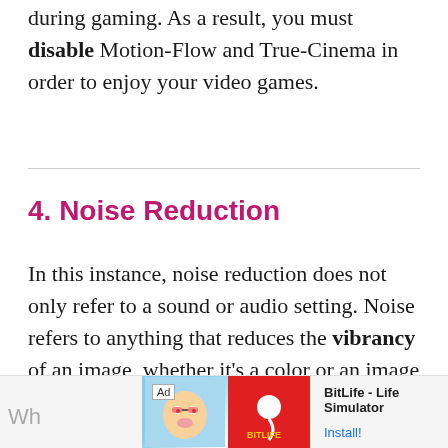during gaming. As a result, you must disable Motion-Flow and True-Cinema in order to enjoy your video games.
4. Noise Reduction
In this instance, noise reduction does not only refer to a sound or audio setting. Noise refers to anything that reduces the vibrancy of an image, whether it's a color or an image on a screen.
[Figure (screenshot): Advertisement banner for BitLife - Life Simulator app, showing ad label, cartoon character image, BitLife logo on red background, app name 'BitLife - Life Simulator', and 'Install!' link.]